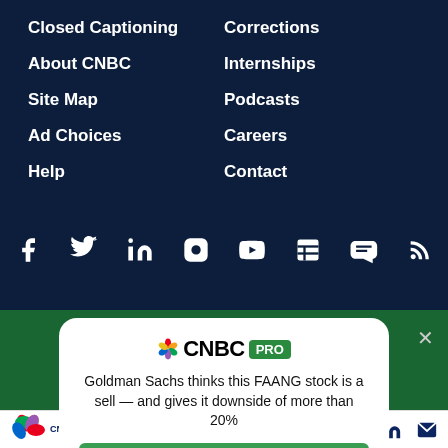Closed Captioning
About CNBC
Site Map
Ad Choices
Help
Corrections
Internships
Podcasts
Careers
Contact
[Figure (infographic): Social media icons row: Facebook, Twitter, LinkedIn, Instagram, YouTube, Apple News, RSS]
[Figure (infographic): CNBC PRO promotional card with logo, headline text 'Goldman Sachs thinks this FAANG stock is a sell — and gives it downside of more than 20%', and SUBSCRIBE NOW button]
[Figure (logo): CNBC logo in footer with social icons: Facebook, Twitter, LinkedIn, Email]